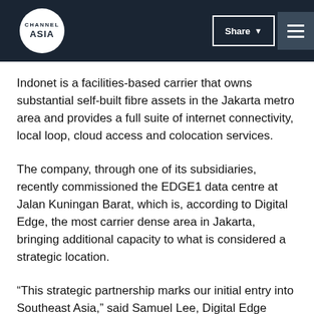operator's Digital Edge (Hong Kong) acquiring a 60% Digital Edge becomes the largest shareholder. | CHANNEL ASIA | Share | Menu
Indonet is a facilities-based carrier that owns substantial self-built fibre assets in the Jakarta metro area and provides a full suite of internet connectivity, local loop, cloud access and colocation services.
The company, through one of its subsidiaries, recently commissioned the EDGE1 data centre at Jalan Kuningan Barat, which is, according to Digital Edge, the most carrier dense area in Jakarta, bringing additional capacity to what is considered a strategic location.
“This strategic partnership marks our initial entry into Southeast Asia,” said Samuel Lee, Digital Edge CEO. “It enables Digital Edge to meet the pressing needs of new customers wanting to deploy into Indonesia and also to offer